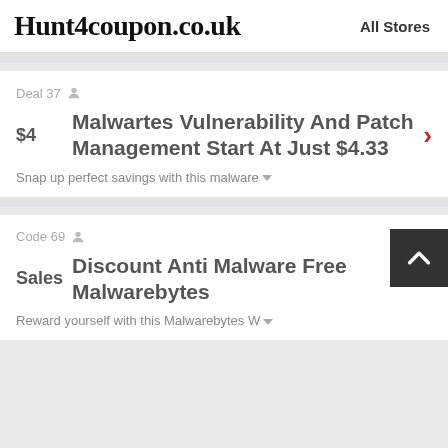Hunt4coupon.co.uk | All Stores
Deal 37
Malwartes Vulnerability And Patch Management Start At Just $4.33
Snap up perfect savings with this malware
Code 69
Discount Anti Malware Free Malwarebytes
Reward yourself with this Malwarebytes W